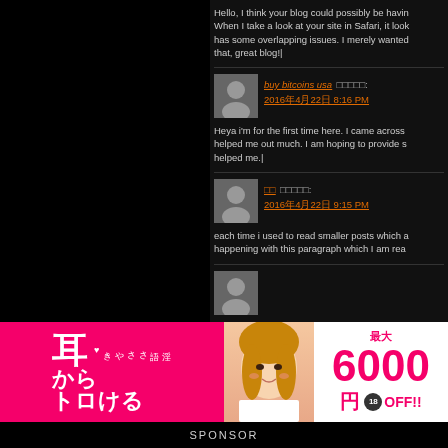Hello, I think your blog could possibly be having When I take a look at your site in Safari, it look has some overlapping issues. I merely wanted that, great blog!|
buy bitcoins usa said:
2016年4月22日 8:16 PM
Heya i'm for the first time here. I came across helped me out much. I am hoping to provide s helped me.|
said:
2016年4月22日 9:15 PM
each time i used to read smaller posts which a happening with this paragraph which I am rea
[Figure (infographic): Japanese advertisement banner with pink background, large kanji text reading 耳からトロける with 淫語ささやき, photo of woman, and text showing 最大6000円OFF!!]
SPONSOR